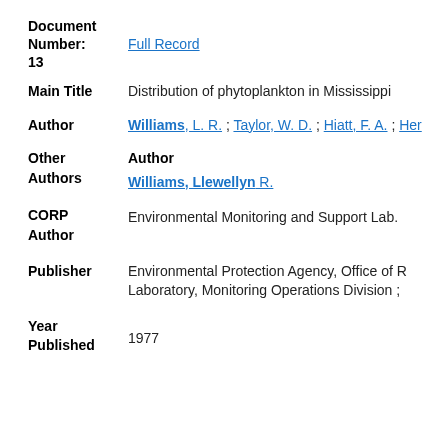Document
Number: Full Record
13
Main Title  Distribution of phytoplankton in Mississippi
Author  Williams, L. R. ; Taylor, W. D. ; Hiatt, F. A. ; Her
Other Authors  Author
Williams, Llewellyn R.
CORP Author  Environmental Monitoring and Support Lab.
Publisher  Environmental Protection Agency, Office of R... Laboratory, Monitoring Operations Division ;
Year Published  1977